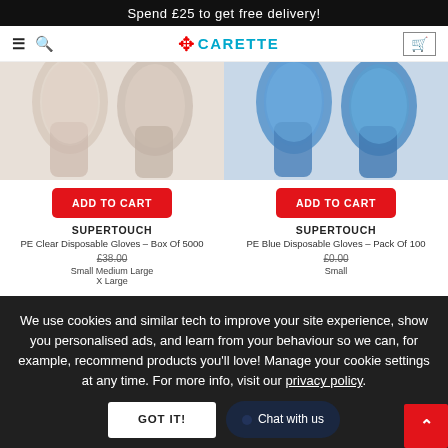Spend £25 to get free delivery!
[Figure (screenshot): Navigation bar with hamburger menu, search icon, CARETTE logo (red leaf + cyan text), and cart icon]
[Figure (photo): Two clear/transparent disposable gloves on hands]
[Figure (photo): Two blue disposable gloves on hands]
ADD TO CART
ADD TO CART
SUPERTOUCH
PE Clear Disposable Gloves – Box Of 5000
SUPERTOUCH
PE Blue Disposable Gloves – Pack Of 100
£38.00
£0.00
Small Medium Large
X Large
Small
We use cookies and similar tech to improve your site experience, show you personalised ads, and learn from your behaviour so we can, for example, recommend products you'll love! Manage your cookie settings at any time. For more info, visit our privacy policy.
GOT IT!
Chat with us